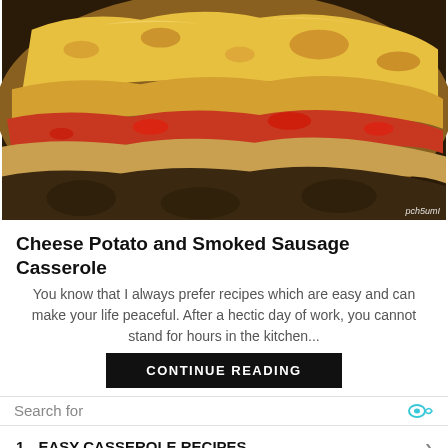[Figure (photo): Close-up photo of a layered casserole dish with melted golden cheese on top, visible tomato and potato layers, mushrooms at the bottom, baked and slightly browned.]
Cheese Potato and Smoked Sausage Casserole
You know that I always prefer recipes which are easy and can make your life peaceful. After a hectic day of work, you cannot stand for hours in the kitchen...
CONTINUE READING
Search for
1. EASY CASSEROLE RECIPES
2. GROUND BEEF CASSEROLE RECIPES